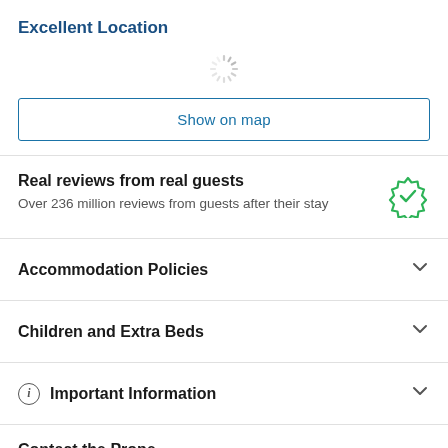Excellent Location
[Figure (other): Loading spinner animation]
Show on map
Real reviews from real guests
Over 236 million reviews from guests after their stay
Accommodation Policies
Children and Extra Beds
Important Information
Contact the Property